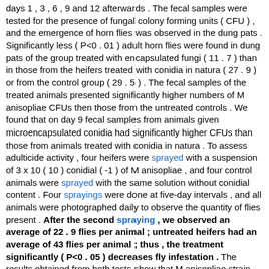days 1 , 3 , 6 , 9 and 12 afterwards . The fecal samples were tested for the presence of fungal colony forming units ( CFU ) , and the emergence of horn flies was observed in the dung pats . Significantly less ( P<0 . 01 ) adult horn flies were found in dung pats of the group treated with encapsulated fungi ( 11 . 7 ) than in those from the heifers treated with conidia in natura ( 27 . 9 ) or from the control group ( 29 . 5 ) . The fecal samples of the treated animals presented significantly higher numbers of M anisopliae CFUs then those from the untreated controls . We found that on day 9 fecal samples from animals given microencapsulated conidia had significantly higher CFUs than those from animals treated with conidia in natura . To assess adulticide activity , four heifers were sprayed with a suspension of 3 x 10 ( 10 ) conidial ( -1 ) of M anisopliae , and four control animals were sprayed with the same solution without conidial content . Four sprayings were done at five-day intervals , and all animals were photographed daily to observe the quantity of flies present . After the second spraying , we observed an average of 22 . 9 flies per animal ; untreated heifers had an average of 43 flies per animal ; thus , the treatment significantly ( P<0 . 05 ) decreases fly infestation . The results obtained from both tests show that M anisopliae strain E9 has a pathogenic effect on H irritans larvae in bovine manure when administered orally and on adult fly infestations when applied as a spray on the hosts .
[ Sen. 15, subscore: 1.00 ]: The third group received no treatment and was used as a control . Fecal samples from manure and whole dung pats were collected from each of the three separate pastures on the day that the animals were allocated and on days 1 , 3 , 6 , 9 and 12 afterwards . The fecal samples were tested for the presence of fungal colony forming units ( CFU ) , and the emergence of horn flies was observed in the dung pats . Significantly less ( P<0 . 01 ) adult horn flies were found in dung pats of the group treated with encapsulated fungi (